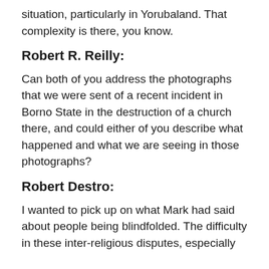situation, particularly in Yorubaland. That complexity is there, you know.
Robert R. Reilly:
Can both of you address the photographs that we were sent of a recent incident in Borno State in the destruction of a church there, and could either of you describe what happened and what we are seeing in those photographs?
Robert Destro:
I wanted to pick up on what Mark had said about people being blindfolded. The difficulty in these inter-religious disputes, especially